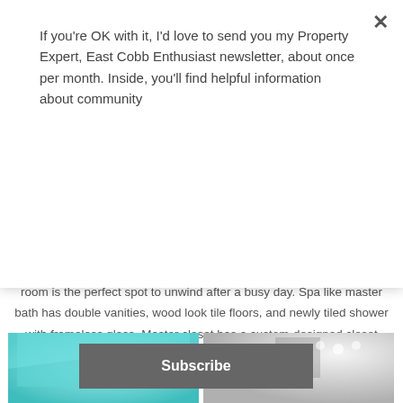If you're OK with it, I'd love to send you my Property Expert, East Cobb Enthusiast newsletter, about once per month. Inside, you'll find helpful information about community
Subscribe
The oversized master bedroom upstairs with cozy fireplace and sitting room is the perfect spot to unwind after a busy day. Spa like master bath has double vanities, wood look tile floors, and newly tiled shower with frameless glass. Master closet has a custom-designed closet system.
[Figure (photo): Room with teal/turquoise colored walls]
[Figure (photo): Room with white/gray walls and recessed lighting]